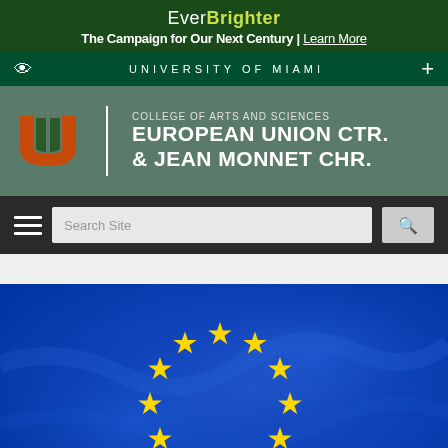Ever Brighter – The Campaign for Our Next Century | Learn More
UNIVERSITY OF MIAMI
[Figure (logo): University of Miami logo with College of Arts and Sciences European Union Ctr. & Jean Monnet Chr. header]
Search Site (navigation bar with hamburger menu)
[Figure (photo): European Union flag photo showing blue background with circle of yellow stars, draped fabric texture]